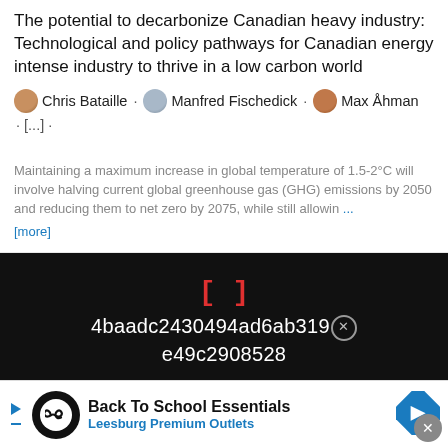The potential to decarbonize Canadian heavy industry: Technological and policy pathways for Canadian energy intense industry to thrive in a low carbon world
Chris Bataille · Manfred Fischedick · Max Åhman · [...] ·
Maintaining a maximum increase in global temperature of 1.5-2°C will involve halving current global greenhouse gas (GHG) emissions by 2050 and reducing them to net zero by 2075, while still allowin ... [more]
[Figure (screenshot): Dark overlay with red bracket symbol [] and hash/token text: 4baadc2430494ad6ab319e49c2908528 with a close button]
Richard Adamson · George Safonov · Frank Jotzo · [...] · Sandrine Mathy
[Figure (infographic): Advertisement banner: Back To School Essentials, Leesburg Premium Outlets with infinity logo and blue diamond arrow]